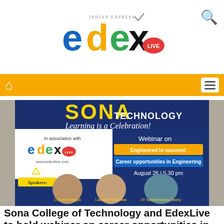[Figure (logo): EdexLive logo by Indian Express in header]
[Figure (infographic): Webinar banner for Sona College of Technology and EdexLive: 'Engineered to succeed: Career opportunities in Engineering', August 26, 5.30 pm. Speakers: Chocko Vallippa, Lakshmi Toshniwal, Dr Subrahmanya Sastry.]
Sona College of Technology and EdexLive to hold webinar on career opportunities in Engineering. Deets here